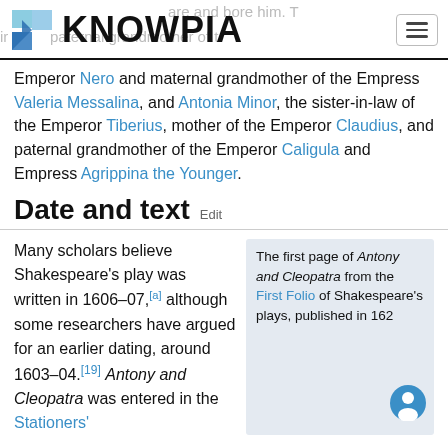KNOWPIA
Emperor Nero and maternal grandmother of the Empress Valeria Messalina, and Antonia Minor, the sister-in-law of the Emperor Tiberius, mother of the Emperor Claudius, and paternal grandmother of the Emperor Caligula and Empress Agrippina the Younger.
Date and text
Many scholars believe Shakespeare's play was written in 1606–07,[a] although some researchers have argued for an earlier dating, around 1603–04.[19] Antony and Cleopatra was entered in the Stationers'
The first page of Antony and Cleopatra from the First Folio of Shakespeare's plays, published in 162
[Figure (illustration): Blue person/user icon in bottom right of sidebar]